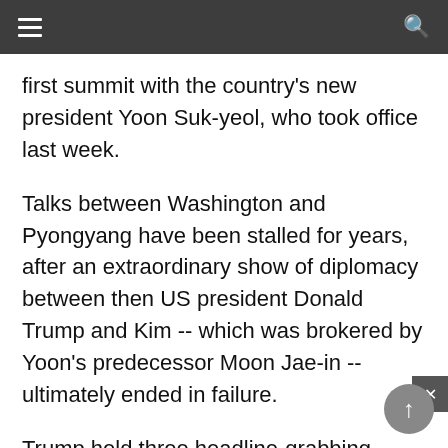first summit with the country's new president Yoon Suk-yeol, who took office last week.
Talks between Washington and Pyongyang have been stalled for years, after an extraordinary show of diplomacy between then US president Donald Trump and Kim -- which was brokered by Yoon's predecessor Moon Jae-in -- ultimately ended in failure.
Trump held three headline-grabbing meetings with Kim and has claimed that the two were "in love", but analysts say little to no progress was made in dismantling the North's nuclear